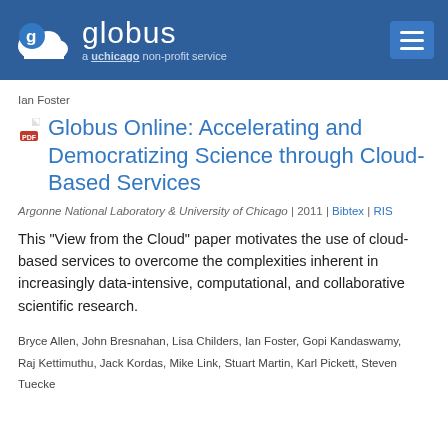globus — a uchicago non-profit service
Ian Foster
Globus Online: Accelerating and Democratizing Science through Cloud-Based Services
Argonne National Laboratory & University of Chicago | 2011 | Bibtex | RIS
This "View from the Cloud" paper motivates the use of cloud-based services to overcome the complexities inherent in increasingly data-intensive, computational, and collaborative scientific research.
Bryce Allen, John Bresnahan, Lisa Childers, Ian Foster, Gopi Kandaswamy, Raj Kettimuthu, Jack Kordas, Mike Link, Stuart Martin, Karl Pickett, Steven Tuecke